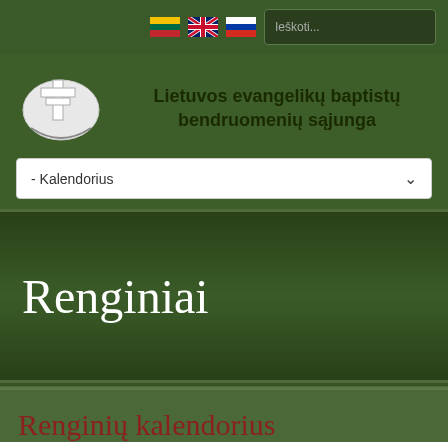Ieškoti...
[Figure (logo): Lietuvos evangelikų baptistų bendruomenių sąjunga logo with cross and map of Lithuania]
Lietuvos evangelikų baptistų bendruomenių sąjunga
- Kalendorius
Renginiai
Renginių kalendorius